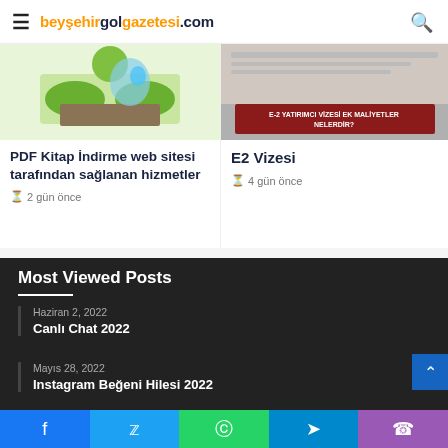beysehirgolgazetesi.com
[Figure (photo): Thumbnail image for PDF book download article, green/nature style]
PDF Kitap İndirme web sitesi tarafından sağlanan hizmetler
2 gün önce
[Figure (photo): Thumbnail image for E2 Visa article with dark red banner text E-2 YATIRIMCI VİZESİ EK MALİYETLER NELERDİR?]
E2 Vizesi
4 gün önce
Most Viewed Posts
Haziran 2, 2022
Canlı Chat 2022
Mayıs 28, 2022
Instagram Beğeni Hilesi 2022